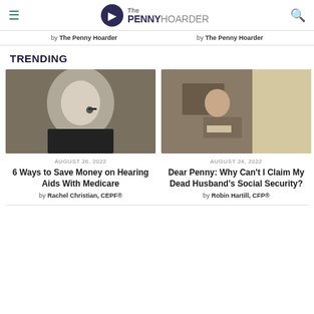The Penny Hoarder
by The Penny Hoarder   by The Penny Hoarder
TRENDING
[Figure (photo): Elderly man adjusting hearing aid, close-up, dark jacket]
AUGUST 26, 2022
6 Ways to Save Money on Hearing Aids With Medicare
by Rachel Christian, CEPF®
[Figure (photo): Older woman sitting on bed reading a document, bedroom with window and curtains]
AUGUST 24, 2022
Dear Penny: Why Can't I Claim My Dead Husband's Social Security?
by Robin Hartill, CFP®